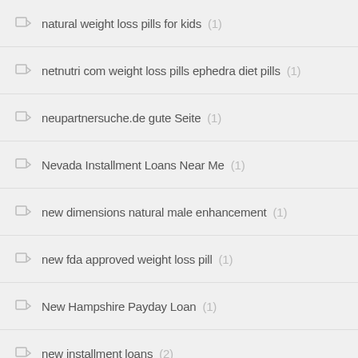natural weight loss pills for kids (1)
netnutri com weight loss pills ephedra diet pills (1)
neupartnersuche.de gute Seite (1)
Nevada Installment Loans Near Me (1)
new dimensions natural male enhancement (1)
new fda approved weight loss pill (1)
New Hampshire Payday Loan (1)
new installment loans (2)
new medicines for blood sugar (1)
new weight loss pill belviq reviews users (1)